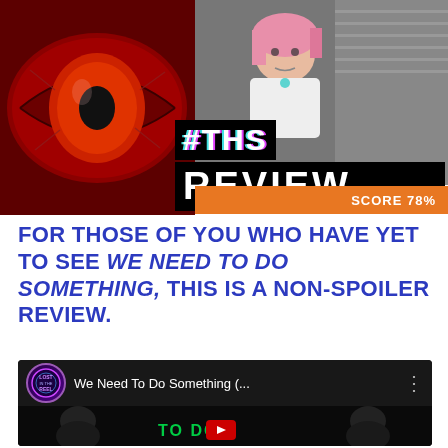[Figure (photo): Left half: horror movie poster with a giant red glowing eye on dark red background. Right half: woman with pink hair in white top looking alarmed. Overlaid text '#THS REVIEW' in large bold white font with glitch effect. Orange score bar reads 'SCORE 78%'.]
FOR THOSE OF YOU WHO HAVE YET TO SEE WE NEED TO DO SOMETHING, THIS IS A NON-SPOILER REVIEW.
[Figure (screenshot): YouTube video card for 'We Need To Do Something (...' with Lost in the Reel logo circle. Thumbnail shows people in dark scene with green text reading 'TO DO'.]